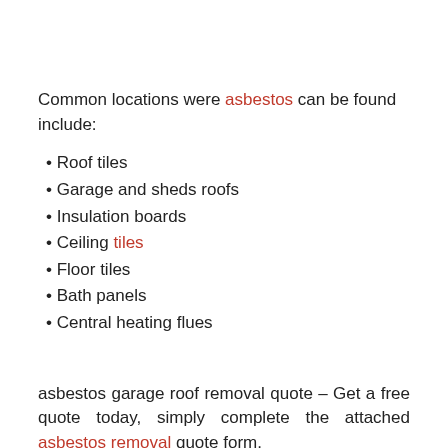Common locations were asbestos can be found include:
Roof tiles
Garage and sheds roofs
Insulation boards
Ceiling tiles
Floor tiles
Bath panels
Central heating flues
asbestos garage roof removal quote – Get a free quote today, simply complete the attached asbestos removal quote form.